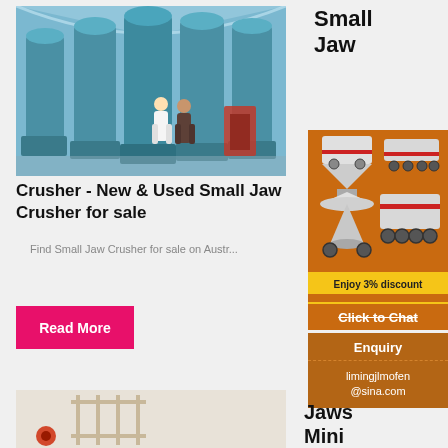[Figure (photo): Factory floor with large blue industrial milling machines; two workers in the background]
Small Jaw Crusher - New & Used Small Jaw Crusher for sale
Find Small Jaw Crusher for sale on Austr...
Read More
[Figure (photo): Partial thumbnail of another crusher product image]
Small Jaw
[Figure (infographic): Orange advertisement with mining/crushing machine illustrations, yellow discount banner, and Click to Chat button]
Enquiry
limingjlmofen@sina.com
Jaws Mini